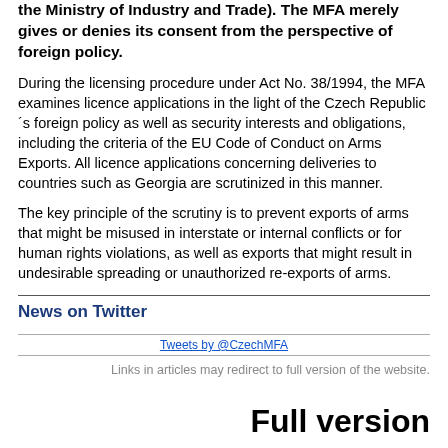the Ministry of Industry and Trade). The MFA merely gives or denies its consent from the perspective of foreign policy.
During the licensing procedure under Act No. 38/1994, the MFA examines licence applications in the light of the Czech Republic´s foreign policy as well as security interests and obligations, including the criteria of the EU Code of Conduct on Arms Exports. All licence applications concerning deliveries to countries such as Georgia are scrutinized in this manner.
The key principle of the scrutiny is to prevent exports of arms that might be misused in interstate or internal conflicts or for human rights violations, as well as exports that might result in undesirable spreading or unauthorized re-exports of arms.
News on Twitter
Tweets by @CzechMFA
Links in articles may redirect to full version of the website.
Full version